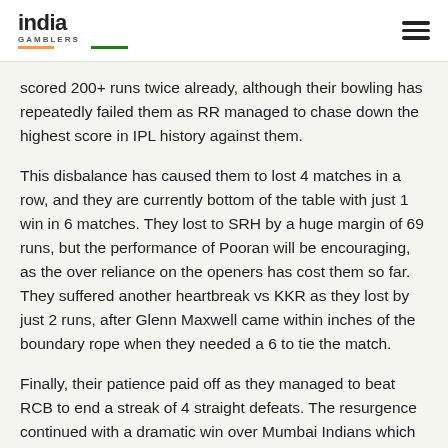india GAMBLERS
scored 200+ runs twice already, although their bowling has repeatedly failed them as RR managed to chase down the highest score in IPL history against them.
This disbalance has caused them to lost 4 matches in a row, and they are currently bottom of the table with just 1 win in 6 matches. They lost to SRH by a huge margin of 69 runs, but the performance of Pooran will be encouraging, as the over reliance on the openers has cost them so far. They suffered another heartbreak vs KKR as they lost by just 2 runs, after Glenn Maxwell came within inches of the boundary rope when they needed a 6 to tie the match.
Finally, their patience paid off as they managed to beat RCB to end a streak of 4 straight defeats. The resurgence continued with a dramatic win over Mumbai Indians which ended in 2 separate super-overs ! They followed this